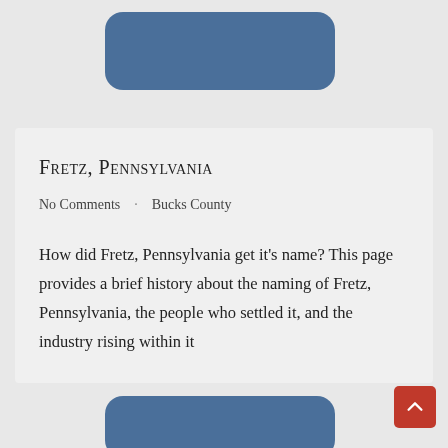[Figure (other): Navigation button at top, steel blue rounded rectangle]
Fretz, Pennsylvania
No Comments · Bucks County
How did Fretz, Pennsylvania get it's name? This page provides a brief history about the naming of Fretz, Pennsylvania, the people who settled it, and the industry rising within it
[Figure (other): Navigation button at bottom, steel blue rounded rectangle]
[Figure (other): Scroll-to-top red square button with up chevron]